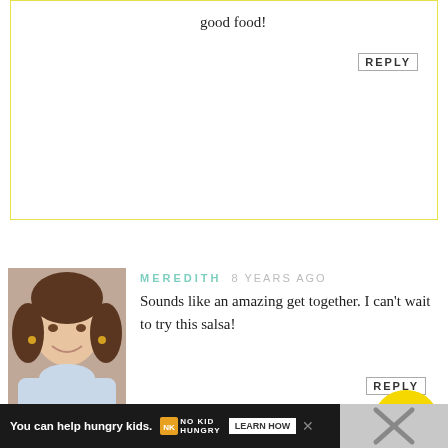good food!
REPLY
MEREDITH   8 YEARS AGO
Sounds like an amazing get together. I can't wait to try this salsa!
REPLY
[Figure (photo): Circular top badge with italic text 'top' on yellow background]
[Figure (photo): Avatar photo of Meredith, smiling woman in light blue shirt]
LIREN BAKER   8 YEARS AGO
It truly was,
[Figure (photo): Avatar photo of Liren Baker, woman with dark hair holding flowers]
You can help hungry kids.   NO KID HUNGRY   LEARN HOW